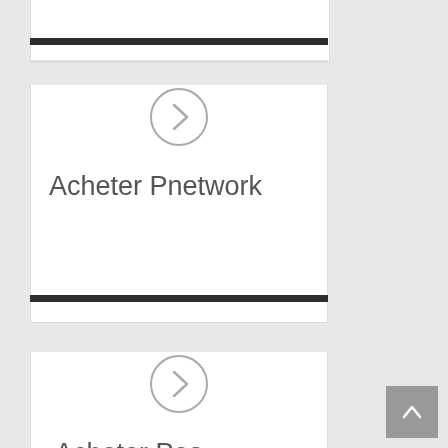[Figure (illustration): Card with dark top bar, a circular arrow/chevron icon, and text 'Acheter Pnetwork']
Acheter Pnetwork
[Figure (illustration): Card with dark top bar, a circular arrow/chevron icon, and text 'Acheter Poa']
Acheter Poa